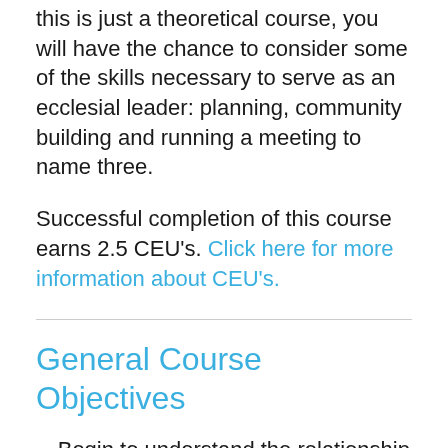this is just a theoretical course, you will have the chance to consider some of the skills necessary to serve as an ecclesial leader: planning, community building and running a meeting to name three.
Successful completion of this course earns 2.5 CEU's. Click here for more information about CEU's.
General Course Objectives
Begin to understand the relationship between leadership, management